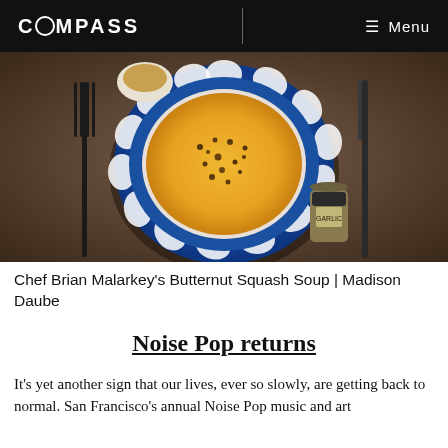COMPASS  Menu
[Figure (photo): Overhead shot of a butternut squash soup served in a blue and white decorative plate on a brown table setting with fork, knife, and spice jar nearby.]
Chef Brian Malarkey's Butternut Squash Soup | Madison Daube
Noise Pop returns
It's yet another sign that our lives, ever so slowly, are getting back to normal. San Francisco's annual Noise Pop music and art